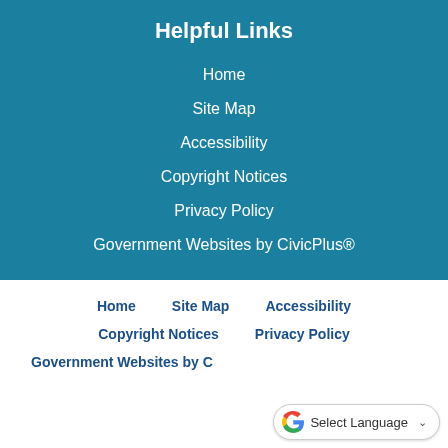Helpful Links
Home
Site Map
Accessibility
Copyright Notices
Privacy Policy
Government Websites by CivicPlus®
Home
Site Map
Accessibility
Copyright Notices
Privacy Policy
Government Websites by C…
[Figure (other): Google Translate widget: 'Select Language' dropdown with Google G logo]